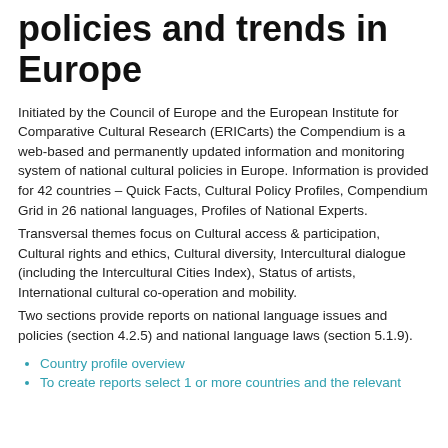policies and trends in Europe
Initiated by the Council of Europe and the European Institute for Comparative Cultural Research (ERICarts) the Compendium is a web-based and permanently updated information and monitoring system of national cultural policies in Europe. Information is provided for 42 countries – Quick Facts, Cultural Policy Profiles, Compendium Grid in 26 national languages, Profiles of National Experts.
Transversal themes focus on Cultural access & participation, Cultural rights and ethics, Cultural diversity, Intercultural dialogue (including the Intercultural Cities Index), Status of artists, International cultural co-operation and mobility.
Two sections provide reports on national language issues and policies (section 4.2.5) and national language laws (section 5.1.9).
Country profile overview
To create reports select 1 or more countries and the relevant